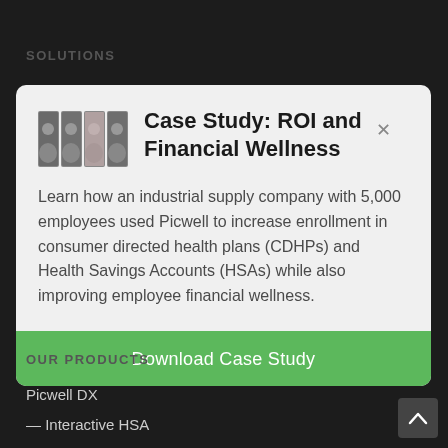SOLUTIONS
Case Study: ROI and Financial Wellness
Learn how an industrial supply company with 5,000 employees used Picwell to increase enrollment in consumer directed health plans (CDHPs) and Health Savings Accounts (HSAs) while also improving employee financial wellness.
Download Case Study
OUR PRODUCTS
Picwell DX
— Interactive HSA